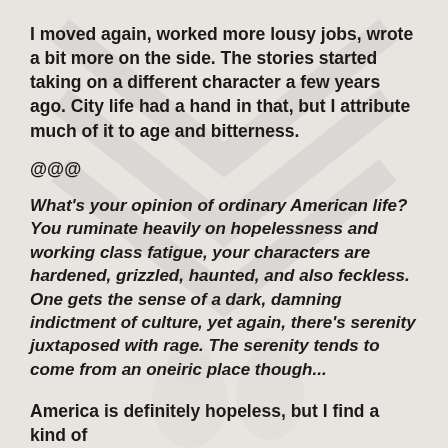I moved again, worked more lousy jobs, wrote a bit more on the side. The stories started taking on a different character a few years ago. City life had a hand in that, but I attribute much of it to age and bitterness.
@@@
What's your opinion of ordinary American life? You ruminate heavily on hopelessness and working class fatigue, your characters are hardened, grizzled, haunted, and also feckless. One gets the sense of a dark, damning indictment of culture, yet again, there's serenity juxtaposed with rage. The serenity tends to come from an oneiric place though...
America is definitely hopeless, but I find a kind of